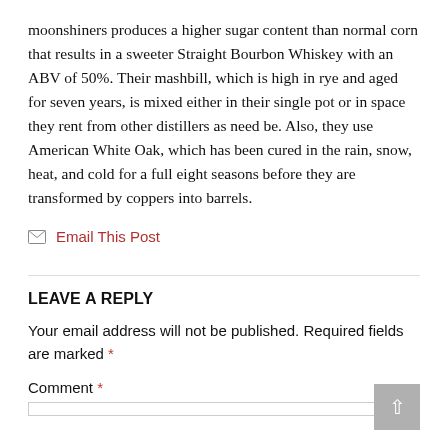moonshiners produces a higher sugar content than normal corn that results in a sweeter Straight Bourbon Whiskey with an ABV of 50%. Their mashbill, which is high in rye and aged for seven years, is mixed either in their single pot or in space they rent from other distillers as need be. Also, they use American White Oak, which has been cured in the rain, snow, heat, and cold for a full eight seasons before they are transformed by coppers into barrels.
📧 Email This Post
LEAVE A REPLY
Your email address will not be published. Required fields are marked *
Comment *